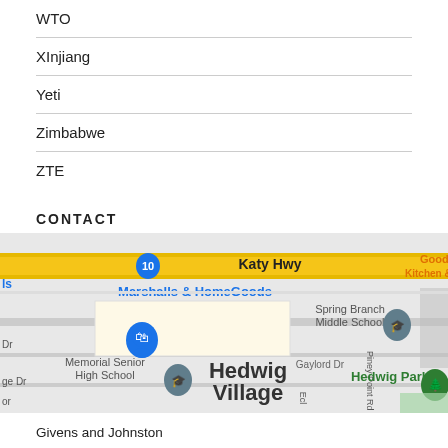WTO
XInjiang
Yeti
Zimbabwe
ZTE
CONTACT
[Figure (map): Google Maps view of Hedwig Village, Houston Texas area showing Katy Hwy (I-10), Marshalls & HomeGoods, Spring Branch Middle School, Memorial Senior High School, Hedwig Village, Hedwig Park, and surrounding streets.]
Givens and Johnston
950 Echo Lane, Suite 360
Houston, Texas 77024
Phone: 713.932.1540
Weekdays: 9:00 am - 6:00 pm